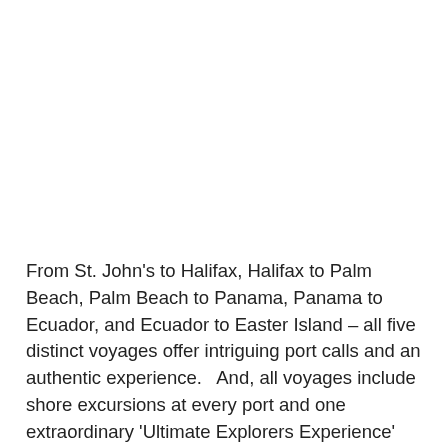From St. John's to Halifax, Halifax to Palm Beach, Palm Beach to Panama, Panama to Ecuador, and Ecuador to Easter Island – all five distinct voyages offer intriguing port calls and an authentic experience.   And, all voyages include shore excursions at every port and one extraordinary 'Ultimate Explorers Experience' (UEE) per voyage, designed to bring guests into direct personal contact with fascinating peoples, cultures and natural wonders.  Engaging presentations by notable experts on the region's culture, history and current events further enhances the guests